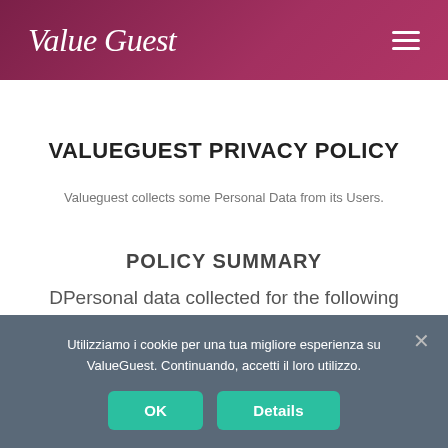ValueGuest
VALUEGUEST PRIVACY POLICY
Valueguest collects some Personal Data from its Users.
POLICY SUMMARY
DPersonal data collected for the following purposes and using the following services:
Utilizziamo i cookie per una tua migliore esperienza su ValueGuest. Continuando, accetti il loro utilizzo.